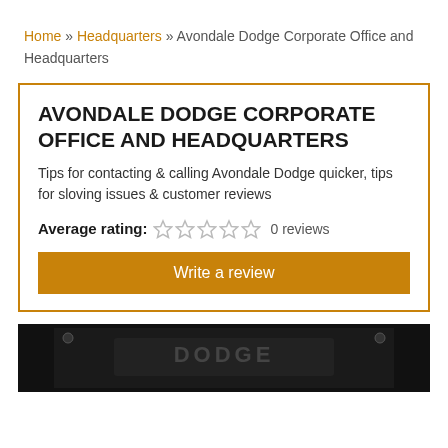Home » Headquarters » Avondale Dodge Corporate Office and Headquarters
AVONDALE DODGE CORPORATE OFFICE AND HEADQUARTERS
Tips for contacting & calling Avondale Dodge quicker, tips for sloving issues & customer reviews
Average rating: ☆☆☆☆☆ 0 reviews
Write a review
[Figure (photo): Avondale Dodge logo/signage photo at bottom of page]